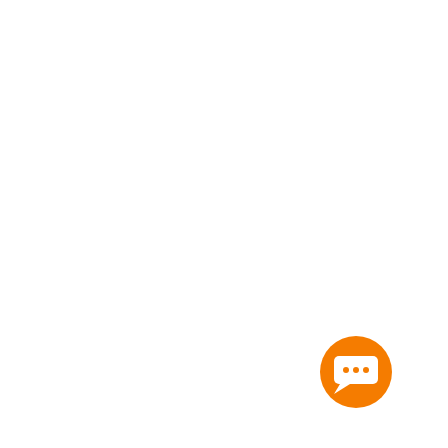[Figure (infographic): Purple downward-pointing arrow/chevron hexagon icon with a gift package symbol, part of a 'Who we are' section]
Founded in 1945 to send 'care packages' to people recovering from war, we have been fighting poverty in the world's poorest countries for 75 years.
[Figure (infographic): Orange 'READ MORE' button]
[Figure (infographic): Orange hexagon icon with a woman figure inside]
Our aims
We empower women to fulfil their potential – when one woman is lifted out of poverty, she brings her family and community with her.
[Figure (infographic): Orange 'READ MORE' button]
[Figure (infographic): Dark red/maroon hexagon icon with money/currency notes inside]
Your support
Your support is what makes our poverty-fighting work possible. You can choose to specify your funds where most effective to help people in need.
[Figure (infographic): Orange 'READ MORE' button]
[Figure (infographic): Orange circular chat bubble icon overlay in bottom right area]